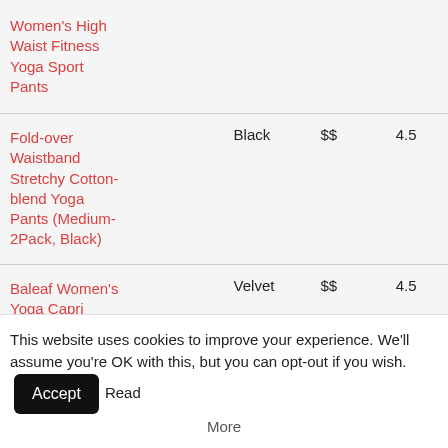|  | Product | Color | Price | Rating |
| --- | --- | --- | --- | --- |
|  | Women's High Waist Fitness Yoga Sport Pants |  |  |  |
|  | Fold-over Waistband Stretchy Cotton-blend Yoga Pants (Medium-2Pack, Black) | Black | $$ | 4.5 |
|  | Baleaf Women's Yoga Capri Legging Inner Pocket Non See- | Velvet | $$ | 4.5 |
This website uses cookies to improve your experience. We'll assume you're OK with this, but you can opt-out if you wish. Accept Read More